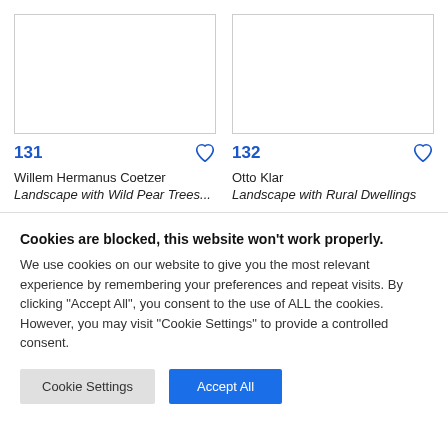[Figure (other): Blank white artwork image placeholder for item 131]
131
Willem Hermanus Coetzer
Landscape with Wild Pear Trees...
[Figure (other): Blank white artwork image placeholder for item 132]
132
Otto Klar
Landscape with Rural Dwellings
Cookies are blocked, this website won't work properly. We use cookies on our website to give you the most relevant experience by remembering your preferences and repeat visits. By clicking "Accept All", you consent to the use of ALL the cookies. However, you may visit "Cookie Settings" to provide a controlled consent.